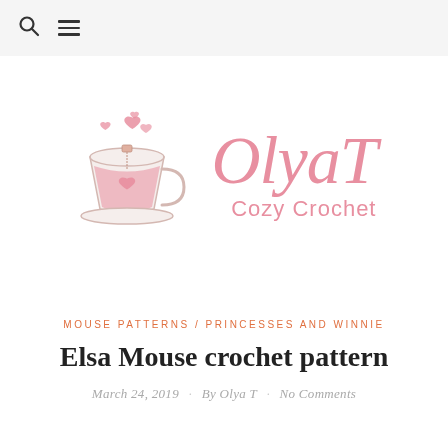Search / Menu navigation bar
[Figure (logo): OlyaT Cozy Crochet logo with a teacup illustration and pink script text]
MOUSE PATTERNS / PRINCESSES AND WINNIE
Elsa Mouse crochet pattern
March 24, 2019  ·  By Olya T  ·  No Comments